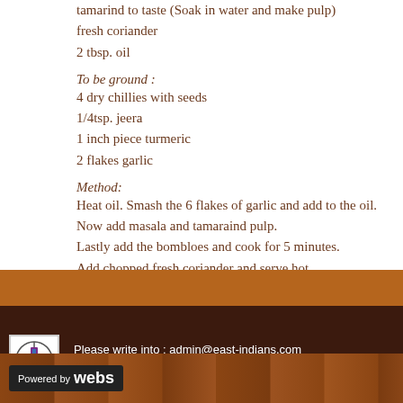tamarind to taste (Soak in water and make pulp)
fresh coriander
2 tbsp. oil
To be ground :
4 dry chillies with seeds
1/4tsp. jeera
1 inch piece turmeric
2 flakes garlic
Method:
Heat oil. Smash the 6 flakes of garlic and add to the oil. Now add masala and tamaraind pulp. Lastly add the bombloes and cook for 5 minutes. Add chopped fresh coriander and serve hot.
↑ go back to the top
Please write into : admin@east-indians.com
Please visit   www.east-indians.net
Powered by webs